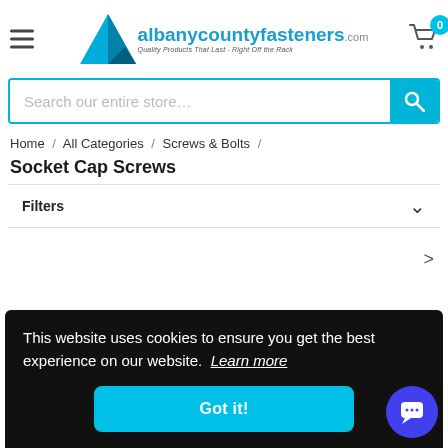albanycountyfasteners.com — Quality Products That Last - Right Off the Rack
Search our entire store…
Home / All Categories / Screws & Bolts /
Socket Cap Screws
Filters
This website uses cookies to ensure you get the best experience on our website. Learn more
Got it!